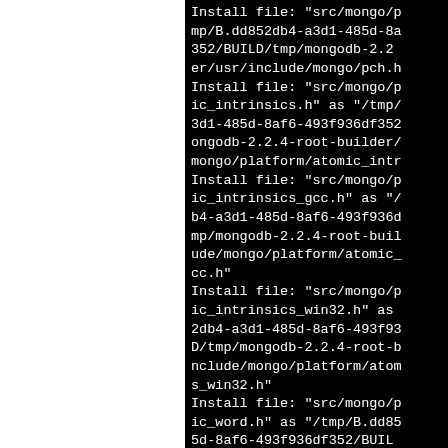Install file: "src/mongo/p
mp/B.dd852db4-a3d1-485d-8a
352/BUILD/tmp/mongodb-2.2
er/usr/include/mongo/pch.h
Install file: "src/mongo/p
ic_intrinsics.h" as "/tmp/
3d1-485d-8af6-493f936df352
ongodb-2.2.4-root-builder/
mongo/platform/atomic_intr
Install file: "src/mongo/p
ic_intrinsics_gcc.h" as "/
b4-a3d1-485d-8af6-493f936d
mp/mongodb-2.2.4-root-buil
ude/mongo/platform/atomic_i
cc.h"
Install file: "src/mongo/p
ic_intrinsics_win32.h" as
2db4-a3d1-485d-8af6-493f93
D/tmp/mongodb-2.2.4-root-b
nclude/mongo/platform/atom
s_win32.h"
Install file: "src/mongo/p
ic_word.h" as "/tmp/B.dd85
5d-8af6-493f936df352/BUIL